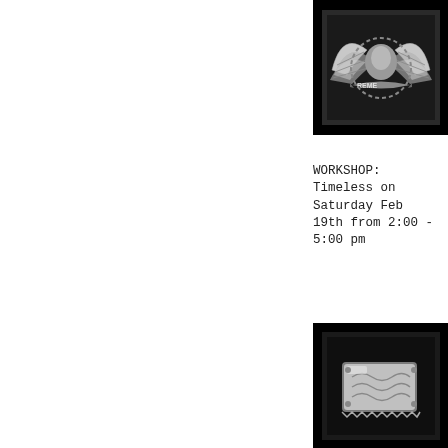[Figure (photo): Close-up photo of a chrome motorcycle badge or emblem with wings and an eagle, partially visible text 'REME' on a ribbon, displayed in a black frame with white mat]
WORKSHOP: Timeless on Saturday Feb 19th from 2:00 - 5:00 pm
[Figure (photo): Close-up photo of a metallic chrome decorative object or motorcycle part with engraved scrollwork detail, displayed in a black frame with white mat]